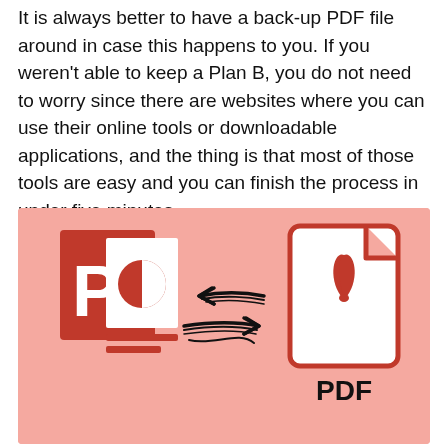It is always better to have a back-up PDF file around in case this happens to you. If you weren't able to keep a Plan B, you do not need to worry since there are websites where you can use their online tools or downloadable applications, and the thing is that most of those tools are easy and you can finish the process in under five minutes.
[Figure (illustration): Illustration showing conversion between PowerPoint (PPT) and PDF formats. Left side shows a red PowerPoint icon with the letter P and a pie chart. Center shows double-headed arrows drawn in a sketchy style. Right side shows a PDF file icon with a red Adobe Acrobat logo and 'PDF' text. All on a pink/salmon background.]